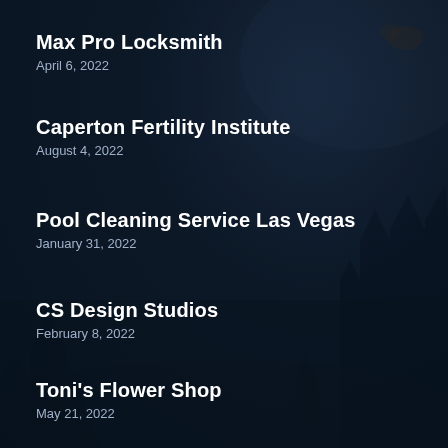Max Pro Locksmith
April 6, 2022
Caperton Fertility Institute
August 4, 2022
Pool Cleaning Service Las Vegas
January 31, 2022
CS Design Studios
February 8, 2022
Toni's Flower Shop
May 21, 2022